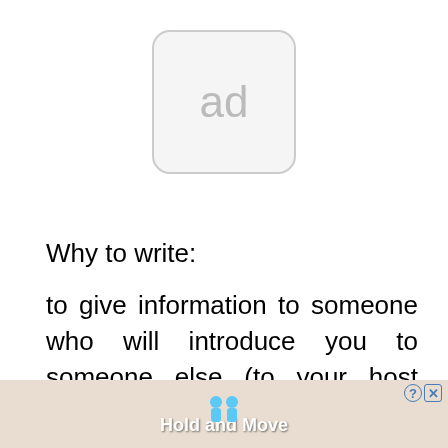[Figure (other): Advertisement placeholder box with rounded corners showing 'ad' text in gray]
Why to write:
to give information to someone who will introduce you to someone else (to your host family, for speech, etc.);
to give your personal information to the educational establishment you're going to study at;
[Figure (screenshot): Bottom advertisement banner for 'Hold and Move' mobile game showing cartoon figures on a ramp, with question mark and X close buttons]